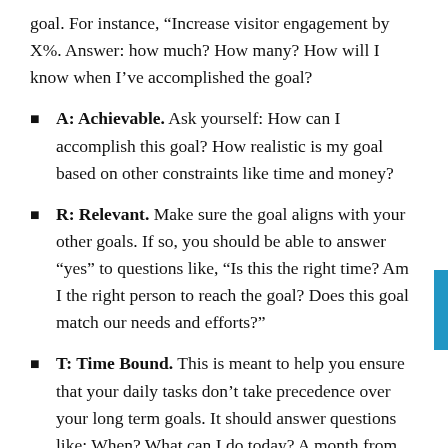goal. For instance, “Increase visitor engagement by X%. Answer: how much? How many? How will I know when I’ve accomplished the goal?
A: Achievable. Ask yourself: How can I accomplish this goal? How realistic is my goal based on other constraints like time and money?
R: Relevant. Make sure the goal aligns with your other goals. If so, you should be able to answer “yes” to questions like, “Is this the right time? Am I the right person to reach the goal? Does this goal match our needs and efforts?”
T: Time Bound. This is meant to help you ensure that your daily tasks don’t take precedence over your long term goals. It should answer questions like: When? What can I do today? A month from now? Six months from now? For example, if you want to increase visitor engagement by X%, you want to add the time